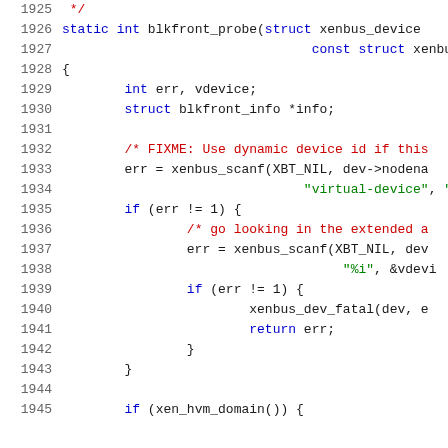[Figure (screenshot): Source code listing showing C function blkfront_probe, lines 1925-1945, with syntax highlighting: line numbers in gray, keywords in blue, comments in red, string literals in green.]